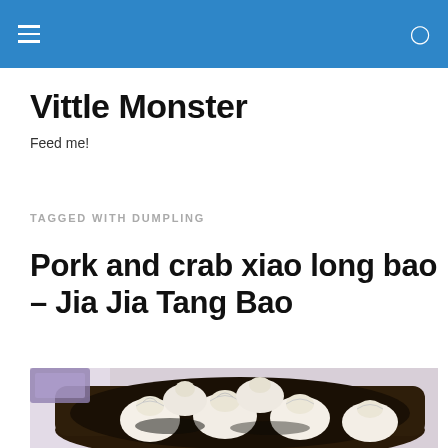Vittle Monster
Feed me!
TAGGED WITH DUMPLING
Pork and crab xiao long bao – Jia Jia Tang Bao
[Figure (photo): Photo of xiao long bao (soup dumplings) in a bamboo steamer basket, viewed from above. Multiple plump white dumplings with folded tops sit on a dark steamer base. A purple menu or card is partially visible in the upper left corner.]